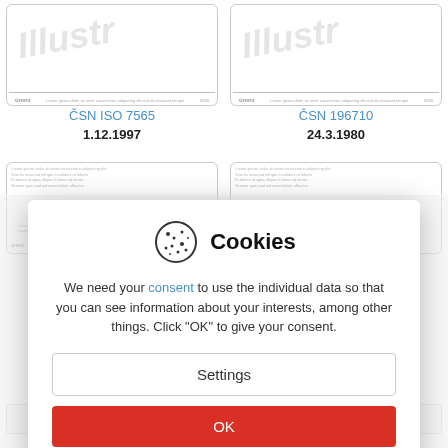[Figure (illustration): Thumbnail of standard document ČSN ISO 7565 with 'Illustr' watermark text]
ČSN ISO 7565
1.12.1997
[Figure (illustration): Thumbnail of standard document ČSN 196710 with 'Illustr' watermark text]
ČSN 196710
24.3.1980
[Figure (screenshot): Cookie consent dialog overlay with settings and OK buttons]
You can refuse consent here.